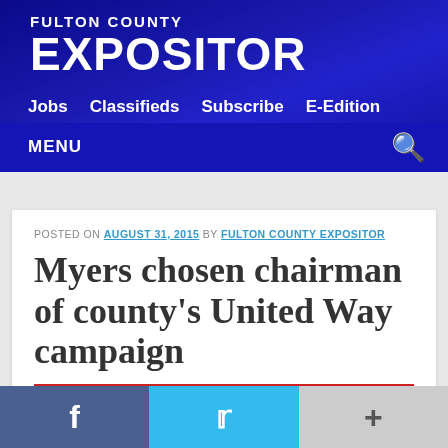FULTON COUNTY EXPOSITOR
Jobs  Classifieds  Subscribe  E-Edition
MENU
POSTED ON AUGUST 31, 2015 BY FULTON COUNTY EXPOSITOR
Myers chosen chairman of county's United Way campaign
NEWS